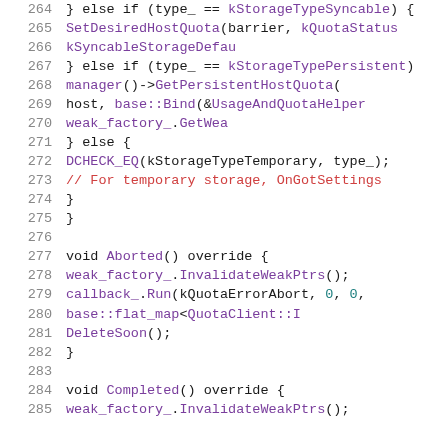[Figure (screenshot): Source code listing showing C++ code lines 264-285, with syntax highlighting: line numbers in grey, keywords in black, function/method names in purple, comments in red, numeric literals in teal.]